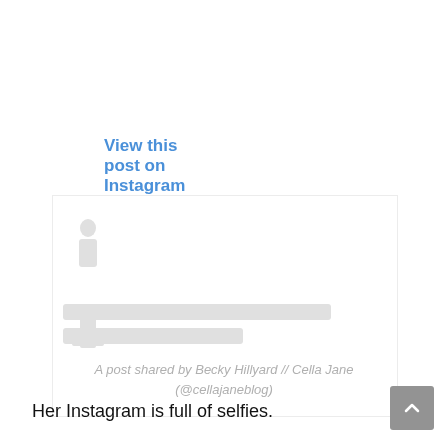View this post on Instagram
[Figure (screenshot): Instagram post embed placeholder with loading icon and two gray placeholder bars]
A post shared by Becky Hillyard // Cella Jane (@cellajaneblog)
Her Instagram is full of selfies.